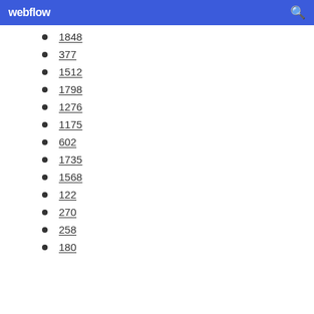webflow
1848
377
1512
1798
1276
1175
602
1735
1568
122
270
258
180